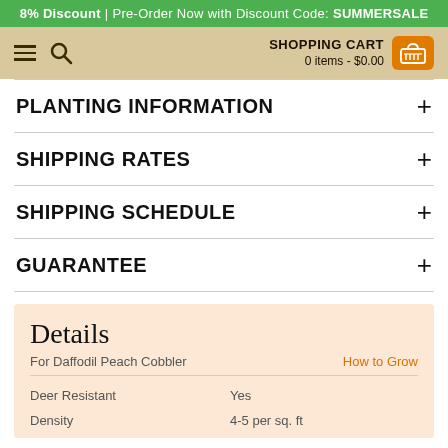8% Discount | Pre-Order Now with Discount Code: SUMMERSALE
[Figure (screenshot): Navigation bar with hamburger menu, search icon, and shopping cart showing 0 items - $0.00]
PLANTING INFORMATION +
SHIPPING RATES +
SHIPPING SCHEDULE +
GUARANTEE +
Details
For Daffodil Peach Cobbler
How to Grow
Deer Resistant     Yes
Density     4-5 per sq. ft